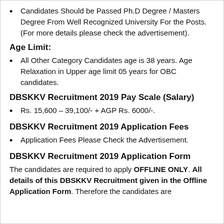Candidates Should be Passed Ph.D Degree / Masters Degree From Well Recognized University For the Posts. (For more details please check the advertisement).
Age Limit:
All Other Category Candidates age is 38 years. Age Relaxation in Upper age limit 05 years for OBC candidates.
DBSKKV Recruitment 2019 Pay Scale (Salary)
Rs. 15,600 – 39,100/- + AGP Rs. 6000/-.
DBSKKV Recruitment 2019 Application Fees
Application Fees Please Check the Advertisement.
DBSKKV Recruitment 2019 Application Form
The candidates are required to apply OFFLINE ONLY. All details of this DBSKKV Recruitment given in the Offline Application Form. Therefore the candidates are